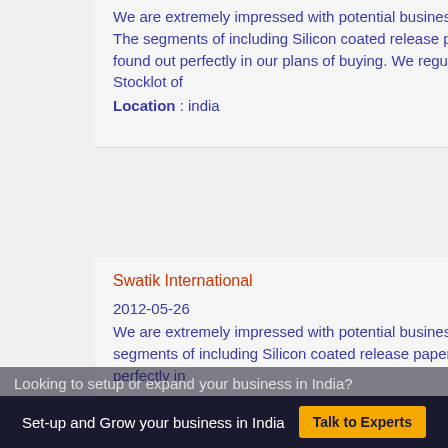We are extremely impressed with potential business that we have in common. The segments of including Silicon coated release paper, Self Adhesive Paper found out perfectly in our plans of buying. We regularly buy as followings goods 1) Stocklot of
Location : india
Swatik International
2012-05-26
We are extremely impressed with potential business that we have in common. The segments of including Silicon coated release paper, Self Adhesive Paper found out perfectly in
Looking to setup or expand your business in India?
Set-up and Grow your business in India
Talk to Experts